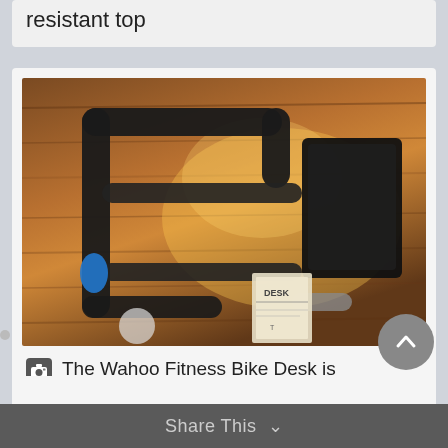resistant top
[Figure (photo): Wahoo Fitness Bike Desk components laid out on a wooden floor, showing 5 pieces of the desk frame in black metal, plus a paper instruction sheet.]
The Wahoo Fitness Bike Desk is composed of 5 pieces plus 6 mounting screws and directions.
Share This